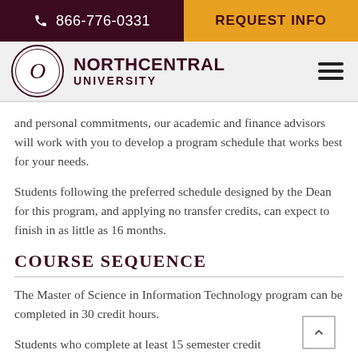866-776-0331 | REQUEST INFO
[Figure (logo): Northcentral University logo with circular seal and text NORTHCENTRAL UNIVERSITY]
and personal commitments, our academic and finance advisors will work with you to develop a program schedule that works best for your needs.
Students following the preferred schedule designed by the Dean for this program, and applying no transfer credits, can expect to finish in as little as 16 months.
COURSE SEQUENCE
The Master of Science in Information Technology program can be completed in 30 credit hours.
Students who complete at least 15 semester credit